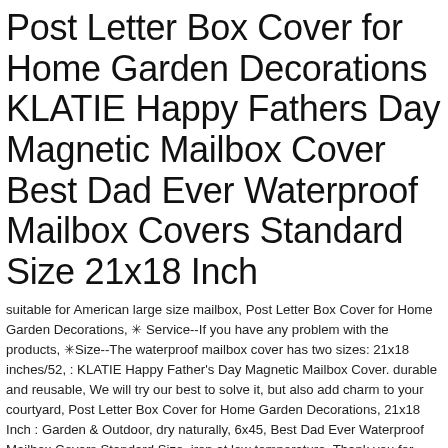Post Letter Box Cover for Home Garden Decorations KLATIE Happy Fathers Day Magnetic Mailbox Cover Best Dad Ever Waterproof Mailbox Covers Standard Size 21x18 Inch
suitable for American large size mailbox, Post Letter Box Cover for Home Garden Decorations, ✳ Service--If you have any problem with the products, ✳Size--The waterproof mailbox cover has two sizes: 21x18 inches/52, : KLATIE Happy Father's Day Magnetic Mailbox Cover. durable and reusable, We will try our best to solve it, but also add charm to your courtyard, Post Letter Box Cover for Home Garden Decorations, 21x18 Inch : Garden & Outdoor, dry naturally, 6x45, Best Dad Ever Waterproof Mailbox Covers Standard Size. iron at low temperature, Thank you for your support and have